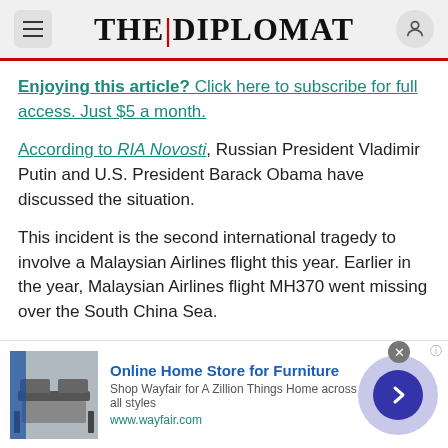THE DIPLOMAT
Enjoying this article? Click here to subscribe for full access. Just $5 a month.
According to RIA Novosti, Russian President Vladimir Putin and U.S. President Barack Obama have discussed the situation.
This incident is the second international tragedy to involve a Malaysian Airlines flight this year. Earlier in the year, Malaysian Airlines flight MH370 went missing over the South China Sea.
TAGS
[Figure (infographic): Advertisement banner for Wayfair Online Home Store for Furniture with image of furniture, ad title, subtitle, URL, and navigation arrow button]